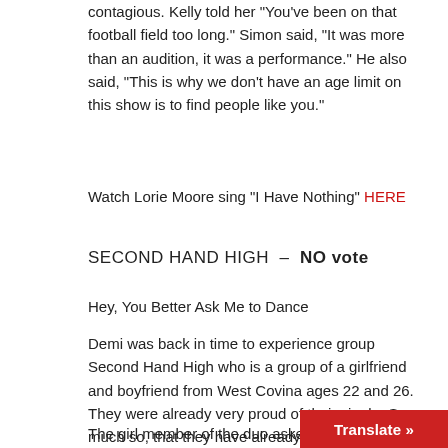contagious. Kelly told her "You've been on that football field too long." Simon said, "It was more than an audition, it was a performance." He also said, "This is why we don't have an age limit on this show is to find people like you."
Watch Lorie Moore sing "I Have Nothing" HERE
SECOND HAND HIGH  –  NO vote
Hey, You Better Ask Me to Dance
Demi was back in time to experience group Second Hand High who is a group of a girlfriend and boyfriend from West Covina ages 22 and 26. They were already very proud of their single. So much so, that they have already planned on Simon giving them the go ahead. The pair was engaged, it's off now, but they don't seem to be seeing anyone else. Super confidently they went into their song with a very catchy chorus "Hey, you better ask me to dance" which was not very good, but I do give them an A+ for confidence.
The girl member of the duo asked Simon if he w